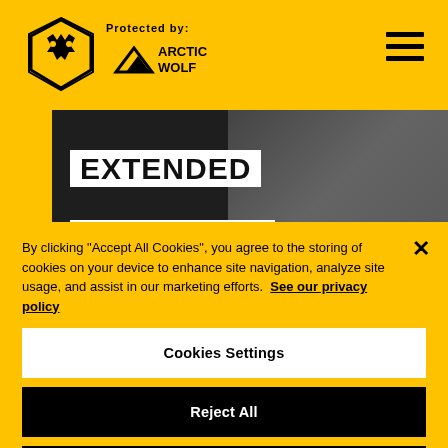Wolverhampton Wanderers FC website header with Wolves logo, Protected by: Arctic Wolf, and hamburger menu
[Figure (screenshot): Extended Highlights video thumbnail showing 'EXTENDED HIGHLIGHTS - WOLVES 1-2 MAN UNITED' text overlay on a dark background with stadium imagery]
By clicking "Accept All Cookies", you agree to the storing of cookies on your device to enhance site navigation, analyze site usage, and assist in our marketing efforts. See our privacy policy
Cookies Settings
Reject All
Accept All Cookies